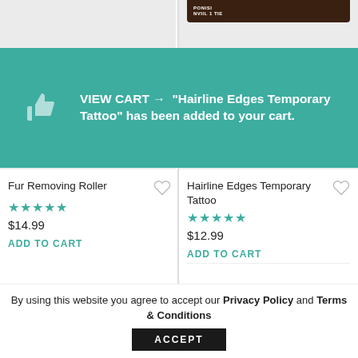[Figure (screenshot): E-commerce product card showing Fur Removing Roller with pink roller image on grey background]
[Figure (screenshot): E-commerce product card showing Hairline Edges Temporary Tattoo with tattoo sticker image on grey background]
VIEW CART → "Hairline Edges Temporary Tattoo" has been added to your cart.
Fur Removing Roller
★★★★★
$14.99
ADD TO CART
Hairline Edges Temporary Tattoo
★★★★★
$12.99
ADD TO CART
By using this website you agree to accept our Privacy Policy and Terms & Conditions
ACCEPT